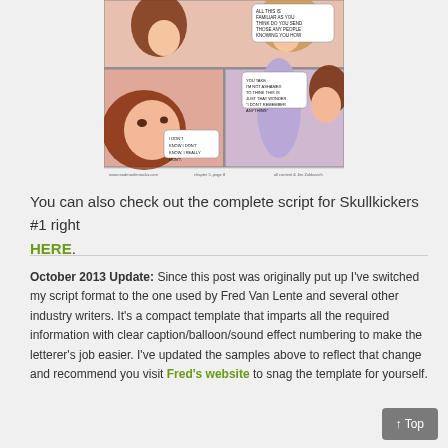[Figure (illustration): Comic book page showing anime-style characters. Top panel shows two young women. Bottom left panel shows a close-up of a woman with brown hair with a speech bubble. Bottom right panel shows a blonde male and a brown-haired woman. Footer text: www.madmanfernacks.com / chapter 5, page 8 / all content & Jim Zubkavich]
You can also check out the complete script for Skullkickers #1 right HERE.
October 2013 Update: Since this post was originally put up I've switched my script format to the one used by Fred Van Lente and several other industry writers. It's a compact template that imparts all the required information with clear caption/balloon/sound effect numbering to make the letterer's job easier. I've updated the samples above to reflect that change and recommend you visit Fred's website to snag the template for yourself.